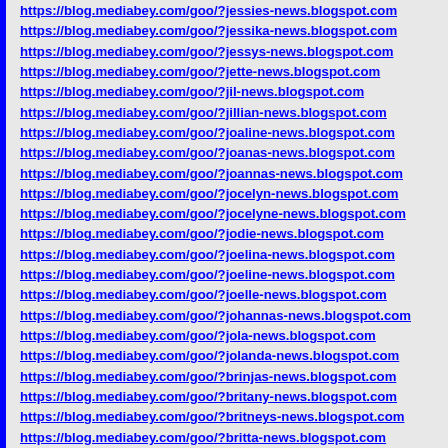https://blog.mediabey.com/goo/?jessies-news.blogspot.com
https://blog.mediabey.com/goo/?jessika-news.blogspot.com
https://blog.mediabey.com/goo/?jessys-news.blogspot.com
https://blog.mediabey.com/goo/?jette-news.blogspot.com
https://blog.mediabey.com/goo/?jil-news.blogspot.com
https://blog.mediabey.com/goo/?jillian-news.blogspot.com
https://blog.mediabey.com/goo/?joaline-news.blogspot.com
https://blog.mediabey.com/goo/?joanas-news.blogspot.com
https://blog.mediabey.com/goo/?joannas-news.blogspot.com
https://blog.mediabey.com/goo/?jocelyn-news.blogspot.com
https://blog.mediabey.com/goo/?jocelyne-news.blogspot.com
https://blog.mediabey.com/goo/?jodie-news.blogspot.com
https://blog.mediabey.com/goo/?joelina-news.blogspot.com
https://blog.mediabey.com/goo/?joeline-news.blogspot.com
https://blog.mediabey.com/goo/?joelle-news.blogspot.com
https://blog.mediabey.com/goo/?johannas-news.blogspot.com
https://blog.mediabey.com/goo/?jola-news.blogspot.com
https://blog.mediabey.com/goo/?jolanda-news.blogspot.com
https://blog.mediabey.com/goo/?brinjas-news.blogspot.com
https://blog.mediabey.com/goo/?britany-news.blogspot.com
https://blog.mediabey.com/goo/?britneys-news.blogspot.com
https://blog.mediabey.com/goo/?britta-news.blogspot.com
https://blog.mediabey.com/goo/?brooke-news.blogspot.com
https://blog.mediabey.com/goo/?brundhild-news.blogspot.com
https://blog.mediabey.com/goo/?cariba-news.blogspot.com
https://blog.mediabey.com/goo/?carina-news.blogspot.com
https://blog.mediabey.com/goo/?carlas-news.blogspot.com
https://blog.mediabey.com/goo/?carlottas-news.blogspot.com
https://blog.mediabey.com/goo/?carmeny-news.blogspot.com
https://blog.mediabey.com/goo/?carmina-news.blogspot.com